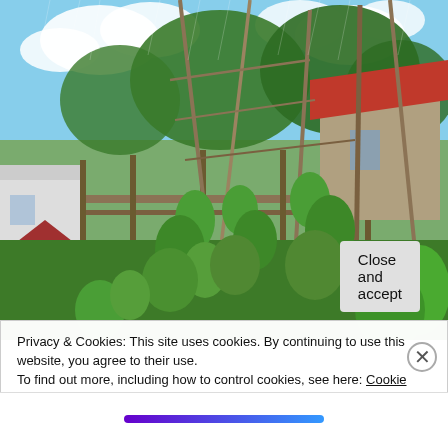[Figure (photo): Outdoor garden scene with tall bamboo poles forming a trellis structure, green climbing bean plants, lush vegetation, a wooden fence, red-roofed outbuildings, trees, and a blue sky with clouds in the background. Rain or mist appears to be falling.]
Privacy & Cookies: This site uses cookies. By continuing to use this website, you agree to their use.
To find out more, including how to control cookies, see here: Cookie Policy
Close and accept